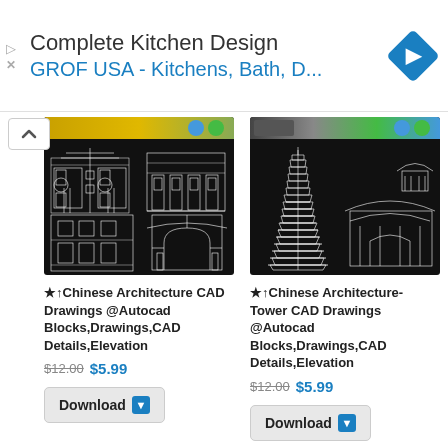[Figure (screenshot): Advertisement banner: 'Complete Kitchen Design / GROF USA - Kitchens, Bath, D...' with blue navigation arrow icon on the right]
[Figure (screenshot): Left product: CAD drawings of Chinese architecture buildings on black background with gold header bar]
[Figure (screenshot): Right product: CAD drawings of Chinese pagoda tower on black background with gold header bar]
★↑Chinese Architecture CAD Drawings @Autocad Blocks,Drawings,CAD Details,Elevation
$12.00 $5.99
Download
★↑Chinese Architecture-Tower CAD Drawings @Autocad Blocks,Drawings,CAD Details,Elevation
$12.00 $5.99
Download